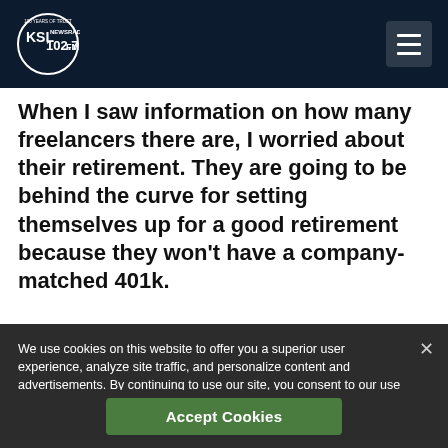KSL NewsRadio 102.7FM
When I saw information on how many freelancers there are, I worried about their retirement. They are going to be behind the curve for setting themselves up for a good retirement because they won't have a company-matched 401k.
We use cookies on this website to offer you a superior user experience, analyze site traffic, and personalize content and advertisements. By continuing to use our site, you consent to our use of cookies. Please visit our Privacy Policy for more information.
Accept Cookies